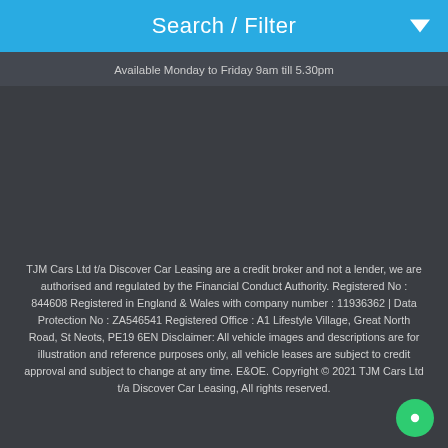Search / Filter
Available Monday to Friday 9am till 5.30pm
TJM Cars Ltd t/a Discover Car Leasing are a credit broker and not a lender, we are authorised and regulated by the Financial Conduct Authority. Registered No : 844608 Registered in England & Wales with company number : 11936362 | Data Protection No : ZA546541 Registered Office : A1 Lifestyle Village, Great North Road, St Neots, PE19 6EN Disclaimer: All vehicle images and descriptions are for illustration and reference purposes only, all vehicle leases are subject to credit approval and subject to change at any time. E&OE. Copyright © 2021 TJM Cars Ltd t/a Discover Car Leasing, All rights reserved.